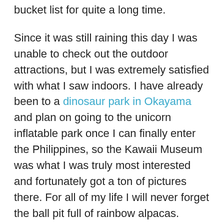bucket list for quite a long time.
Since it was still raining this day I was unable to check out the outdoor attractions, but I was extremely satisfied with what I saw indoors. I have already been to a dinosaur park in Okayama and plan on going to the unicorn inflatable park once I can finally enter the Philippines, so the Kawaii Museum was what I was truly most interested and fortunately got a ton of pictures there. For all of my life I will never forget the ball pit full of rainbow alpacas.
Address: 901-0225 Okinawa, Tomigusuku, Toyosaki, 3-35 丁目
Entrance Fee: Depends on what you want to see but I paid 1800 yen to enter and thought the experience